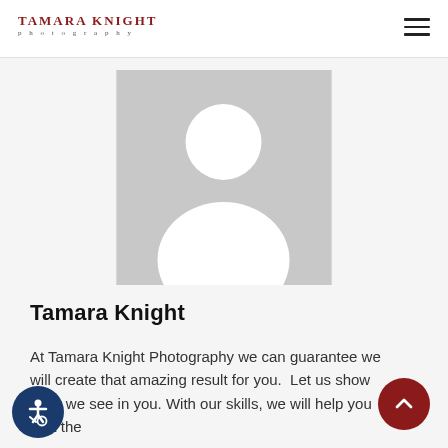TAMARA KNIGHT photography
[Figure (illustration): Generic user avatar placeholder image — grey square with white silhouette (circle head and rounded shoulder body shape)]
Tamara Knight
At Tamara Knight Photography we can guarantee we will create that amazing result for you.  Let us show what we see in you. With our skills, we will help you pick the